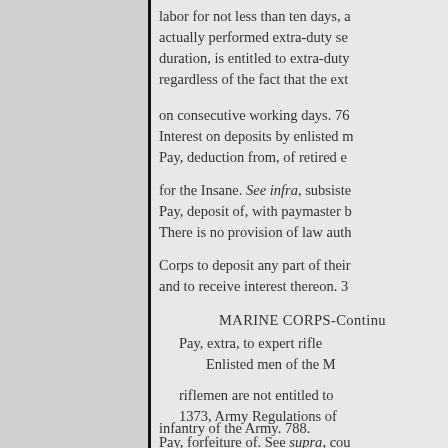labor for not less than ten days, a
actually performed extra-duty se
duration, is entitled to extra-duty
regardless of the fact that the ext
on consecutive working days. 76
Interest on deposits by enlisted m
Pay, deduction from, of retired e
for the Insane. See infra, subsiste
Pay, deposit of, with paymaster b
There is no provision of law auth
Corps to deposit any part of their
and to receive interest thereon. 3
MARINE CORPS-Continu
Pay, extra, to expert rifle
Enlisted men of the M
riflemen are not entitled to
1373, Army Regulations of
infantry of the Army. 788.
Pay, forfeiture of. See supra, cou
Pay, retired officer, assigned to a